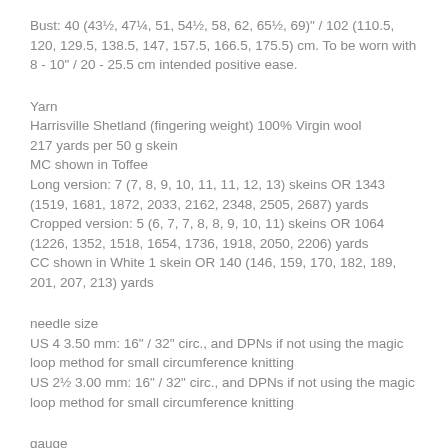Bust: 40 (43½, 47¼, 51, 54½, 58, 62, 65½, 69)" / 102 (110.5, 120, 129.5, 138.5, 147, 157.5, 166.5, 175.5) cm. To be worn with 8 - 10" / 20 - 25.5 cm intended positive ease.
Yarn
Harrisville Shetland (fingering weight) 100% Virgin wool
217 yards per 50 g skein
MC shown in Toffee
Long version: 7 (7, 8, 9, 10, 11, 11, 12, 13) skeins OR 1343 (1519, 1681, 1872, 2033, 2162, 2348, 2505, 2687) yards
Cropped version: 5 (6, 7, 7, 8, 8, 9, 10, 11) skeins OR 1064 (1226, 1352, 1518, 1654, 1736, 1918, 2050, 2206) yards
CC shown in White 1 skein OR 140 (146, 159, 170, 182, 189, 201, 207, 213) yards
needle size
US 4 3.50 mm: 16" / 32" circ., and DPNs if not using the magic loop method for small circumference knitting
US 2½ 3.00 mm: 16" / 32" circ., and DPNs if not using the magic loop method for small circumference knitting
gauge